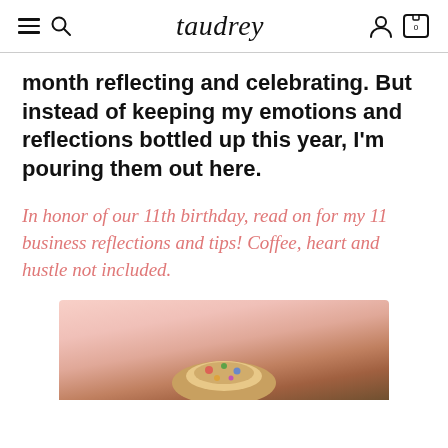taudrey
month reflecting and celebrating. But instead of keeping my emotions and reflections bottled up this year, I'm pouring them out here.
In honor of our 11th birthday, read on for my 11 business reflections and tips! Coffee, heart and hustle not included.
[Figure (photo): Photo of a colorful donut on a pink/peach background, partially cropped at the bottom of the page]